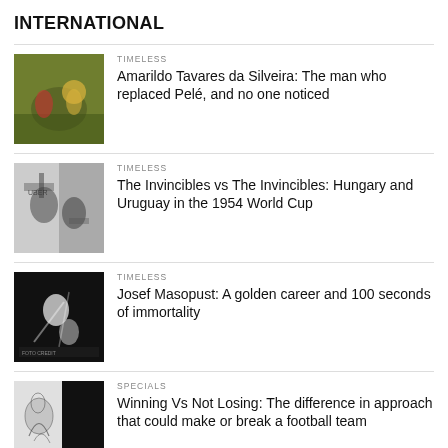INTERNATIONAL
TIMELESS
Amarildo Tavares da Silveira: The man who replaced Pelé, and no one noticed
TIMELESS
The Invincibles vs The Invincibles: Hungary and Uruguay in the 1954 World Cup
TIMELESS
Josef Masopust: A golden career and 100 seconds of immortality
SPECIALS
Winning Vs Not Losing: The difference in approach that could make or break a football team